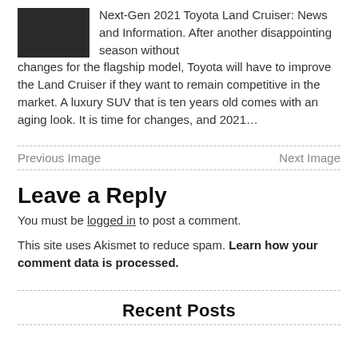[Figure (photo): Small dark thumbnail image of a Toyota Land Cruiser]
Next-Gen 2021 Toyota Land Cruiser: News and Information. After another disappointing season without changes for the flagship model, Toyota will have to improve the Land Cruiser if they want to remain competitive in the market. A luxury SUV that is ten years old comes with an aging look. It is time for changes, and 2021…
Previous Image
Next Image
Leave a Reply
You must be logged in to post a comment.
This site uses Akismet to reduce spam. Learn how your comment data is processed.
Recent Posts